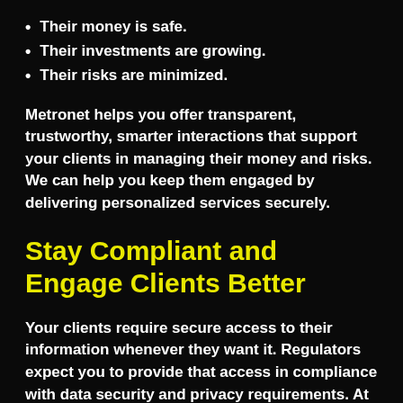Their money is safe.
Their investments are growing.
Their risks are minimized.
Metronet helps you offer transparent, trustworthy, smarter interactions that support your clients in managing their money and risks. We can help you keep them engaged by delivering personalized services securely.
Stay Compliant and Engage Clients Better
Your clients require secure access to their information whenever they want it. Regulators expect you to provide that access in compliance with data security and privacy requirements. At Metronet, we offer the safest and most secure networks, allowing you to